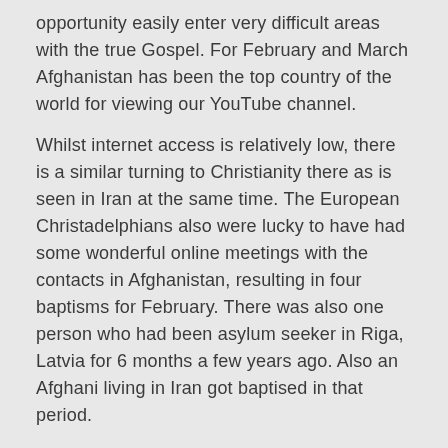opportunity easily enter very difficult areas with the true Gospel. For February and March Afghanistan has been the top country of the world for viewing our YouTube channel.
Whilst internet access is relatively low, there is a similar turning to Christianity there as is seen in Iran at the same time. The European Christadelphians also were lucky to have had some wonderful online meetings with the contacts in Afghanistan, resulting in four baptisms for February. There was also one person who had been asylum seeker in Riga, Latvia for 6 months a few years ago. Also an Afghani living in Iran got baptised in that period.
Many Afghanis speak the same language as most Iranians do.
With the corona crisis we also managed to do bi-lingual Zoom meetings in English and Farsi. This